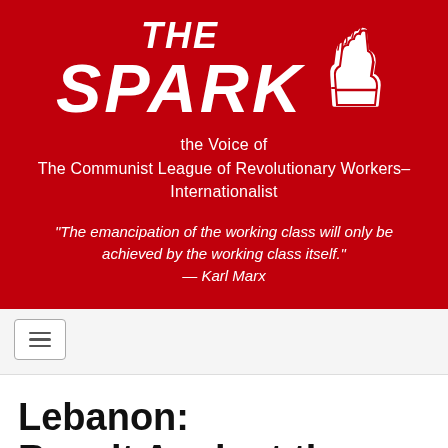[Figure (logo): The Spark logo with raised fist icon on red background]
the Voice of
The Communist League of Revolutionary Workers–
Internationalist
“The emancipation of the working class will only be achieved by the working class itself.”
— Karl Marx
[Figure (other): Hamburger menu navigation button]
Lebanon:
Revolt Against the Political System